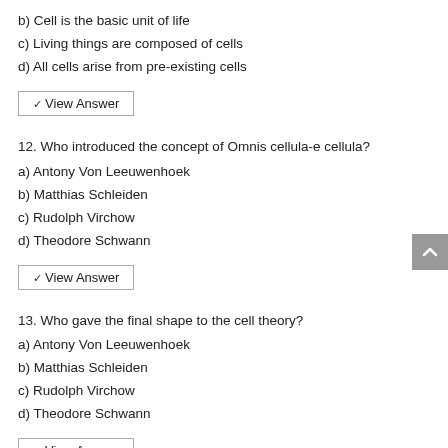b) Cell is the basic unit of life
c) Living things are composed of cells
d) All cells arise from pre-existing cells
View Answer
12. Who introduced the concept of Omnis cellula-e cellula?
a) Antony Von Leeuwenhoek
b) Matthias Schleiden
c) Rudolph Virchow
d) Theodore Schwann
View Answer
13. Who gave the final shape to the cell theory?
a) Antony Von Leeuwenhoek
b) Matthias Schleiden
c) Rudolph Virchow
d) Theodore Schwann
View Answer